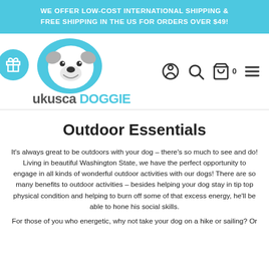WE OFFER LOW-COST INTERNATIONAL SHIPPING & FREE SHIPPING IN THE US FOR ORDERS OVER $49!
[Figure (logo): Ukusca Doggie logo with cartoon dog face in light blue circle and stylized brand name text]
Outdoor Essentials
It's always great to be outdoors with your dog – there's so much to see and do! Living in beautiful Washington State, we have the perfect opportunity to engage in all kinds of wonderful outdoor activities with our dogs! There are so many benefits to outdoor activities – besides helping your dog stay in tip top physical condition and helping to burn off some of that excess energy, he'll be able to hone his social skills.
For those of you who energetic, why not take your dog on a hike or sailing? Or